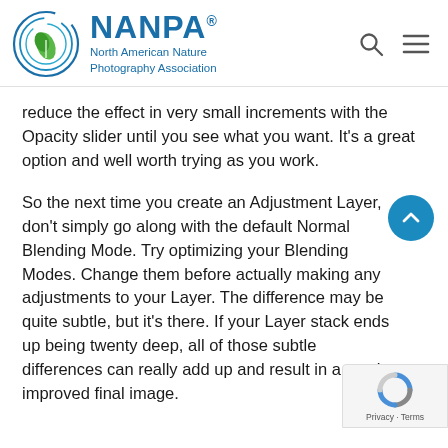NANPA® North American Nature Photography Association
reduce the effect in very small increments with the Opacity slider until you see what you want. It's a great option and well worth trying as you work.
So the next time you create an Adjustment Layer, don't simply go along with the default Normal Blending Mode. Try optimizing your Blending Modes. Change them before actually making any adjustments to your Layer. The difference may be quite subtle, but it's there. If your Layer stack ends up being twenty deep, all of those subtle differences can really add up and result in a much improved final image.